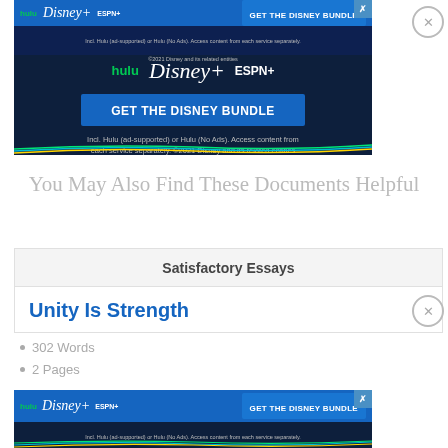[Figure (screenshot): Disney Bundle advertisement banner (large) showing Hulu, Disney+, ESPN+ logos with 'GET THE DISNEY BUNDLE' button and fine print]
You May Also Find These Documents Helpful
Satisfactory Essays
Unity Is Strength
302 Words
2 Pages
Dear student the topic I am going to discuss is unity is
[Figure (screenshot): Disney Bundle advertisement banner (small/bottom) showing Hulu, Disney+, ESPN+ logos with 'GET THE DISNEY BUNDLE' button and fine print]